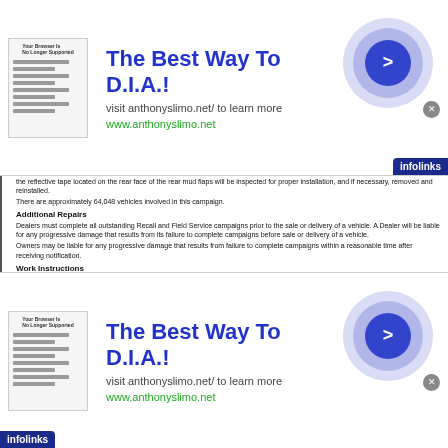the reflective tape located on the rear face of the rear mud flaps will be inspected for proper installation, and if necessary, removed and reinstalled.
There are approximately 64,048 vehicles involved in this campaign.
Additional Repairs
Dealers must complete all outstanding Recall and Field Service campaigns prior to the sale or delivery of a vehicle. A Dealer will be liable for any progressive damage that results from its failure to complete campaigns before sale or delivery of a vehicle.
Owners may be liable for any progressive damage that results from failure to complete campaigns within a reasonable time after receiving notification.
Work Instructions
Please refer to the attached work instructions. Prior to performing the campaign, check the vehicle for a completion sticker (Form WAR280).
Replacement Parts
No Replacement parts are required.
If our records show your dealership has ordered any vehicle(s) involved in campaign number FL848, a list of the customers and vehicle identification numbers will be available on DTNAConnect.
Removed Parts
U.S. and Canadian Dealers, please follow Warranty Failed Parts Tracking shipping instructions for the disposition of all removed parts. Export distributors, please destroy removed parts unless otherwise advised.
Labor Allowance
Table 1 - Labor Allowance
| Campaign Number | Procedure | Time Allowed (hours) | SRT Code | Corrective Action |
| --- | --- | --- | --- | --- |
| FL848A | Inspect reflective tape on mud flap | 0.1 | 996-R090A | 06-Inspect |
| FL848A | Inspect reflective tape on mud flap, remove and reinstall | 0.5 | 996-R09B | 12-Repair Recall/Campaign |